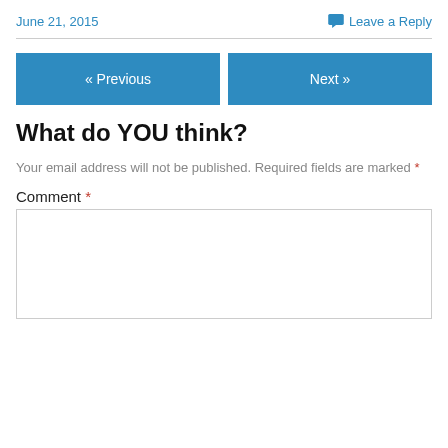June 21, 2015
Leave a Reply
« Previous
Next »
What do YOU think?
Your email address will not be published. Required fields are marked *
Comment *